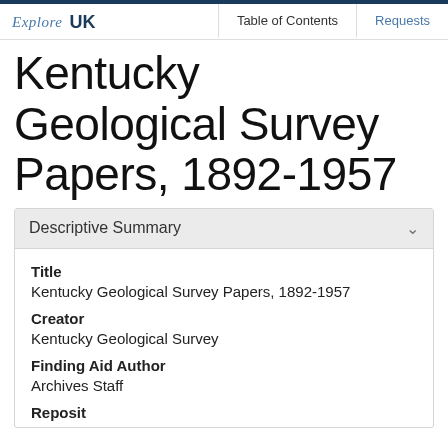Explore UK | Table of Contents | Requests
Kentucky Geological Survey Papers, 1892-1957
Descriptive Summary
Title
Kentucky Geological Survey Papers, 1892-1957

Creator
Kentucky Geological Survey

Finding Aid Author
Archives Staff